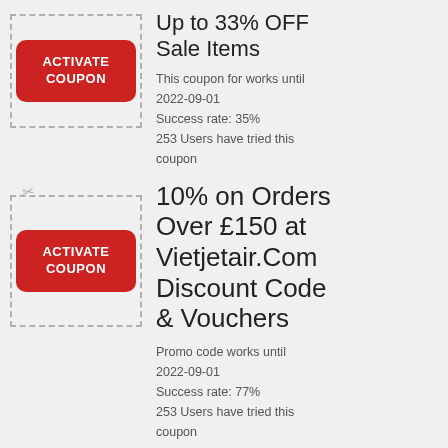[Figure (infographic): Red rounded rectangle button with white bold text ACTIVATE COUPON, inside a dashed border coupon box]
Up to 33% OFF Sale Items
This coupon for works until 2022-09-01
Success rate: 35%
253 Users have tried this coupon
[Figure (infographic): Red rounded rectangle button with white bold text ACTIVATE COUPON, inside a dashed border coupon box with scissors icon]
10% on Orders Over £150 at Vietjetair.Com Discount Code & Vouchers
Promo code works until 2022-09-01
Success rate: 77%
253 Users have tried this coupon